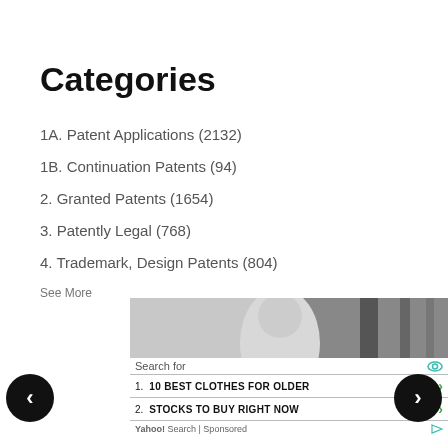Categories
1A. Patent Applications (2132)
1B. Continuation Patents (94)
2. Granted Patents (1654)
3. Patently Legal (768)
4. Trademark, Design Patents (804)
See More
[Figure (screenshot): Advertisement banner showing a black and white photo of a person at a desk, with 'Search for' header and two search results: '10 BEST CLOTHES FOR OLDER' and 'STOCKS TO BUY RIGHT NOW', Yahoo! Search Sponsored footer, with left and right navigation arrows.]